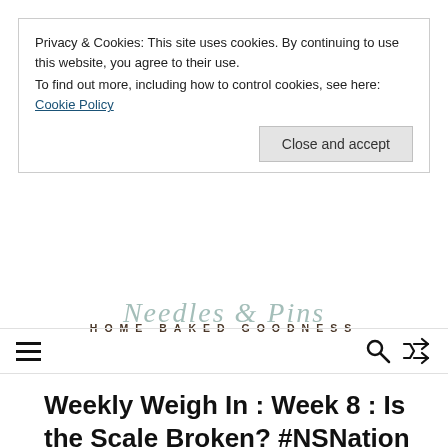Privacy & Cookies: This site uses cookies. By continuing to use this website, you agree to their use. To find out more, including how to control cookies, see here: Cookie Policy
Close and accept
HOME BAKED GOODNESS
Weekly Weigh In : Week 8 : Is the Scale Broken? #NSNation
0 SHARES